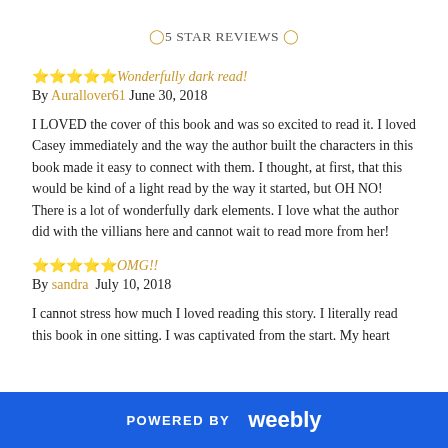⭐5 STAR REVIEWS⭐
⭐⭐⭐⭐⭐Wonderfully dark read!
By Aurallover61 June 30, 2018
I LOVED the cover of this book and was so excited to read it. I loved Casey immediately and the way the author built the characters in this book made it easy to connect with them. I thought, at first, that this would be kind of a light read by the way it started, but OH NO! There is a lot of wonderfully dark elements. I love what the author did with the villians here and cannot wait to read more from her!
⭐⭐⭐⭐⭐OMG!!
By sandra  July 10, 2018
I cannot stress how much I loved reading this story. I literally read this book in one sitting. I was captivated from the start. My heart
POWERED BY weebly